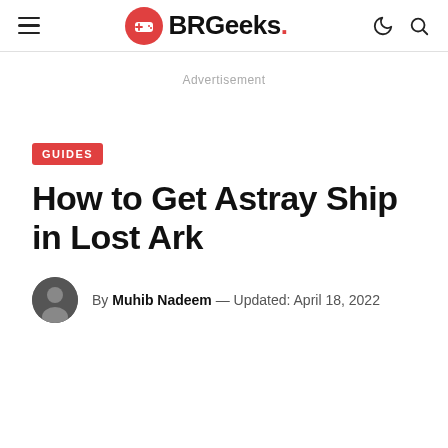BRGeeks.
Advertisement
GUIDES
How to Get Astray Ship in Lost Ark
By Muhib Nadeem — Updated: April 18, 2022